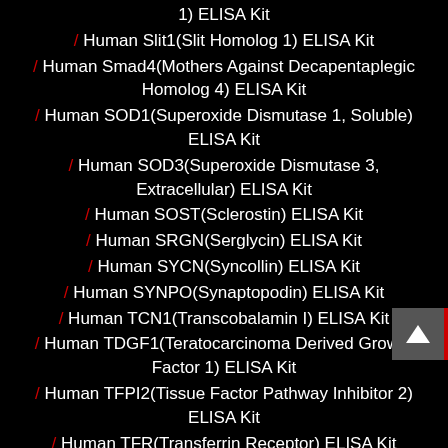1) ELISA Kit
/ Human Slit1(Slit Homolog 1) ELISA Kit
/ Human Smad4(Mothers Against Decapentaplegic Homolog 4) ELISA Kit
/ Human SOD1(Superoxide Dismutase 1, Soluble) ELISA Kit
/ Human SOD3(Superoxide Dismutase 3, Extracellular) ELISA Kit
/ Human SOST(Sclerostin) ELISA Kit
/ Human SRGN(Serglycin) ELISA Kit
/ Human SYCN(Syncollin) ELISA Kit
/ Human SYNPO(Synaptopodin) ELISA Kit
/ Human TCN1(Transcobalamin I) ELISA Kit
/ Human TDGF1(Teratocarcinoma Derived Growth Factor 1) ELISA Kit
/ Human TFPI2(Tissue Factor Pathway Inhibitor 2) ELISA Kit
/ Human TFR(Transferrin Receptor) ELISA Kit
/ Human TGFbI(Transforming Growth Factor Beta